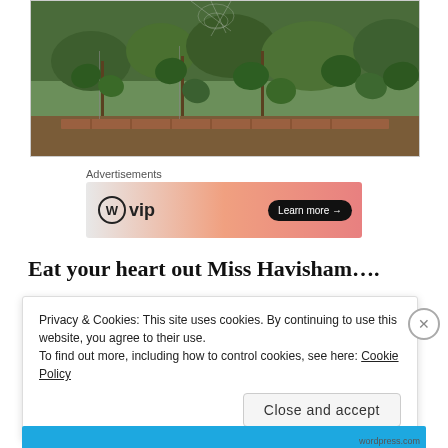[Figure (photo): Outdoor garden photo showing green leafy plants with stakes, hedges in background, natural light]
Advertisements
[Figure (other): WordPress VIP advertisement banner with gradient orange/pink background, WP logo, vip text, and Learn more arrow button]
Eat your heart out Miss Havisham….
Privacy & Cookies: This site uses cookies. By continuing to use this website, you agree to their use.
To find out more, including how to control cookies, see here: Cookie Policy
Close and accept